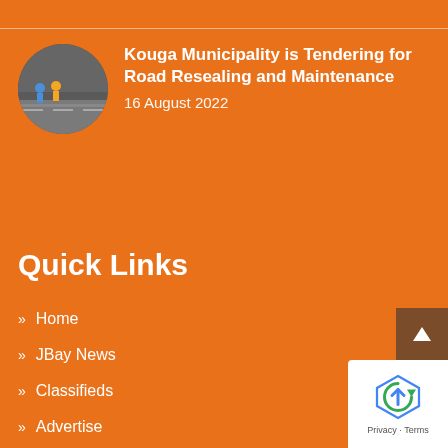[Figure (photo): Circular thumbnail photo of road resealing work being done, with workers visible]
Kouga Municipality is Tendering for Road Resealing and Maintenance
16 August 2022
Quick Links
Home
JBay News
Classifieds
Advertise